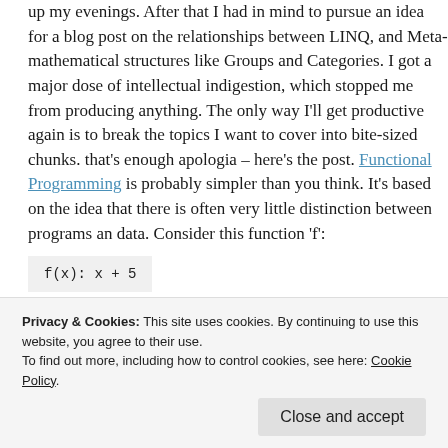up my evenings. After that I had in mind to pursue an idea for a blog post on the relationships between LINQ, and Meta-mathematical structures like Groups and Categories. I got a major dose of intellectual indigestion, which stopped me from producing anything. The only way I'll get productive again is to break the topics I want to cover into bite-sized chunks. that's enough apologia – here's the post. Functional Programming is probably simpler than you think. It's based on the idea that there is often very little distinction between programs an data. Consider this function 'f':
This function 'f' adds five to whatever you pass into f. What
Privacy & Cookies: This site uses cookies. By continuing to use this website, you agree to their use.
To find out more, including how to control cookies, see here: Cookie Policy